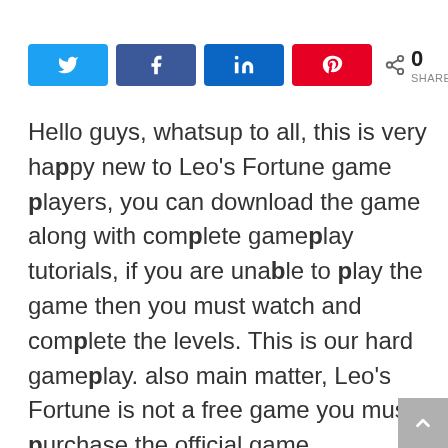[Figure (infographic): Social share buttons: Twitter (blue), Facebook (dark blue), LinkedIn (blue), Pinterest (red), and a share count showing 0 SHARES]
Hello guys, whatsup to all, this is very happy new to Leo's Fortune game players, you can download the game along with complete gameplay tutorials, if you are unable to play the game then you must watch and complete the levels. This is our hard gameplay. also main matter, Leo's Fortune is not a free game you must purchase the official game.